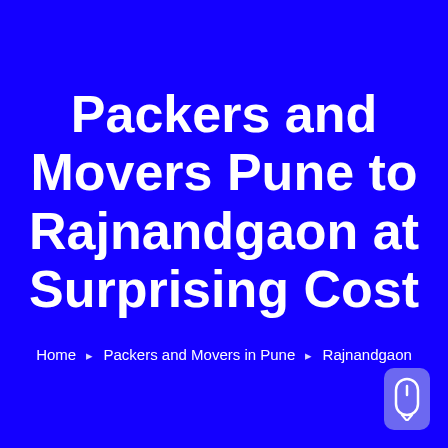Packers and Movers Pune to Rajnandgaon at Surprising Cost
Home > Packers and Movers in Pune > Rajnandgaon